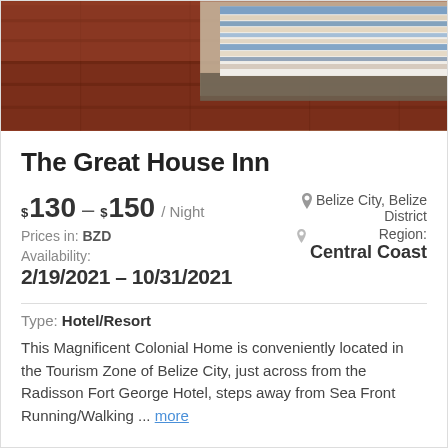[Figure (photo): Hotel room photo showing hardwood floor and bed with blue and white striped blanket]
The Great House Inn
$130 – $150 / Night  |  Belize City, Belize District  |  Region: Central Coast
Prices in: BZD
Availability: 2/19/2021 – 10/31/2021
Type: Hotel/Resort
This Magnificent Colonial Home is conveniently located in the Tourism Zone of Belize City, just across from the Radisson Fort George Hotel, steps away from Sea Front Running/Walking ... more